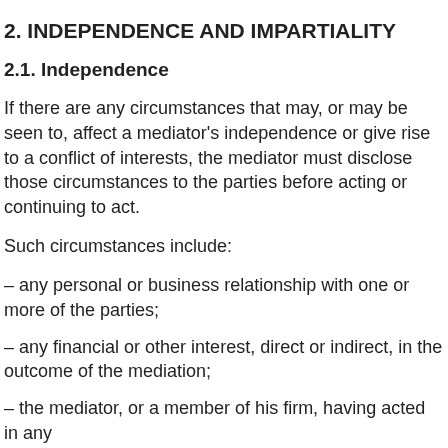2. INDEPENDENCE AND IMPARTIALITY
2.1. Independence
If there are any circumstances that may, or may be seen to, affect a mediator's independence or give rise to a conflict of interests, the mediator must disclose those circumstances to the parties before acting or continuing to act.
Such circumstances include:
– any personal or business relationship with one or more of the parties;
– any financial or other interest, direct or indirect, in the outcome of the mediation;
– the mediator, or a member of his firm, having acted in any